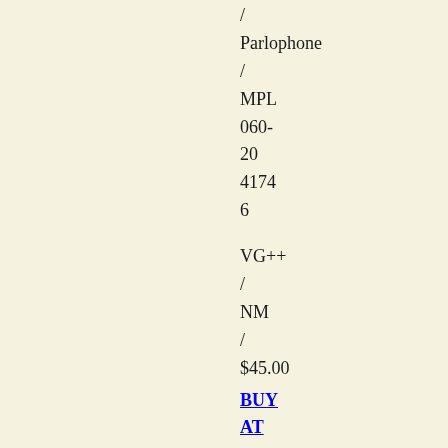/ Parlophone / MPL 060-20 4174 6
VG++ / NM / $45.00
BUY AT GREG'S GROOVES ON AMAZON MARKETPLACE
European export issue. Vinyl